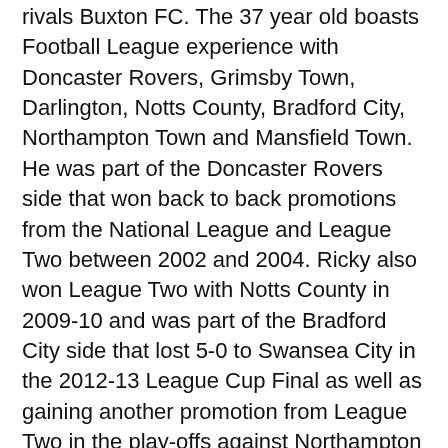rivals Buxton FC. The 37 year old boasts Football League experience with Doncaster Rovers, Grimsby Town, Darlington, Notts County, Bradford City, Northampton Town and Mansfield Town. He was part of the Doncaster Rovers side that won back to back promotions from the National League and League Two between 2002 and 2004. Ricky also won League Two with Notts County in 2009-10 and was part of the Bradford City side that lost 5-0 to Swansea City in the 2012-13 League Cup Final as well as gaining another promotion from League Two in the play-offs against Northampton Town in the same season. Ricky has most recently been at Sports Derbyshire Rivals Buxton FC, and was on the bench when the Bucks won 3-1 at The Don Amott Arena earlier this month.
Sports Boss John McGrath told Press & Media Officers Sam & Kerry Goldsworthy, "I am delighted to welcome